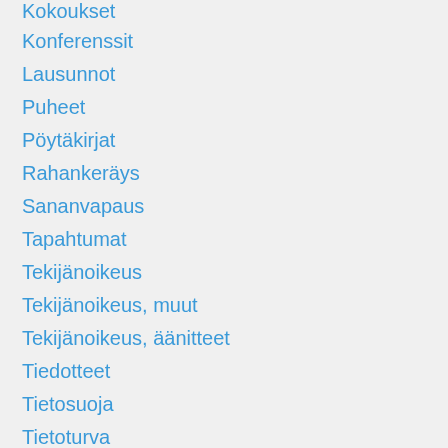Kokoukset
Konferenssit
Lausunnot
Puheet
Pöytäkirjat
Rahankeräys
Sananvapaus
Tapahtumat
Tekijänoikeus
Tekijänoikeus, muut
Tekijänoikeus, äänitteet
Tiedotteet
Tietosuoja
Tietoturva
Toimintasuunnitelmat